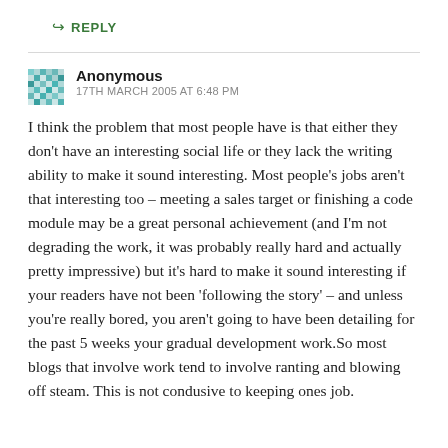↳ REPLY
Anonymous
17TH MARCH 2005 AT 6:48 PM
I think the problem that most people have is that either they don't have an interesting social life or they lack the writing ability to make it sound interesting. Most people's jobs aren't that interesting too – meeting a sales target or finishing a code module may be a great personal achievement (and I'm not degrading the work, it was probably really hard and actually pretty impressive) but it's hard to make it sound interesting if your readers have not been 'following the story' – and unless you're really bored, you aren't going to have been detailing for the past 5 weeks your gradual development work.So most blogs that involve work tend to involve ranting and blowing off steam. This is not condusive to keeping ones job.